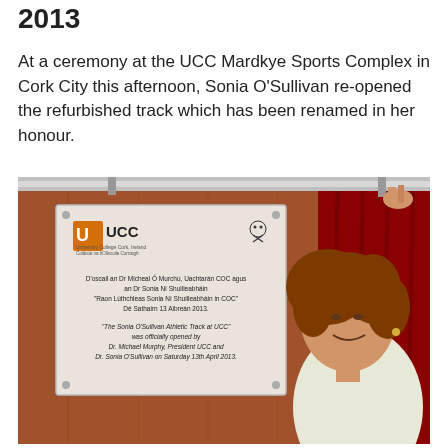2013
At a ceremony at the UCC Mardkye Sports Complex in Cork City this afternoon, Sonia O'Sullivan re-opened the refurbished track which has been renamed in her honour.
[Figure (photo): Sonia O'Sullivan smiling and pulling a cord next to an unveiling plaque mounted on a wooden wall. The plaque shows the UCC logo and text in Irish and English stating 'The Sonia O'Sullivan Athletic Track at UCC' was officially opened by Dr. Michael Murphy, President UCC and Dr. Sonia O'Sullivan on Saturday 13th April 2013.]